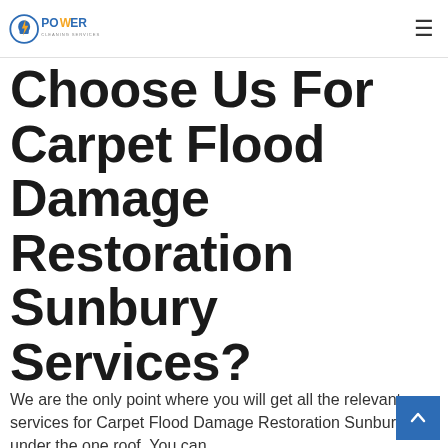Power Carpet Cleaning [logo] [hamburger menu]
Choose Us For Carpet Flood Damage Restoration Sunbury Services?
We are the only point where you will get all the relevant services for Carpet Flood Damage Restoration Sunbury under the one roof. You can